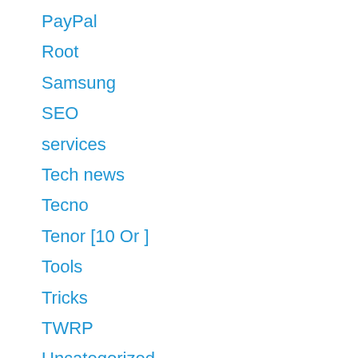PayPal
Root
Samsung
SEO
services
Tech news
Tecno
Tenor [10 Or ]
Tools
Tricks
TWRP
Uncategorized
utilization